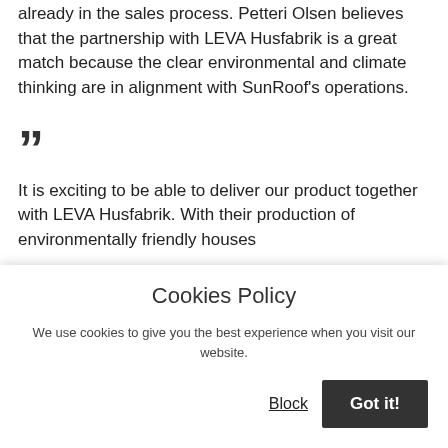already in the sales process. Petteri Olsen believes that the partnership with LEVA Husfabrik is a great match because the clear environmental and climate thinking are in alignment with SunRoof's operations.
””
It is exciting to be able to deliver our product together with LEVA Husfabrik. With their production of environmentally friendly houses
Cookies Policy
We use cookies to give you the best experience when you visit our website.
Block  Got it!